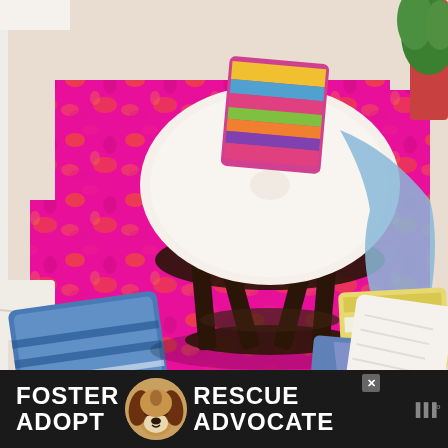[Figure (photo): Interior home decor photo showing a bright pink/magenta patterned area rug with orange accents on a light wood floor. A dark brown rattan papasan chair with white cushion sits in the center, draped with a blue throw blanket. Multiple decorative pillows are arranged around the chair: blue/white patterned pillows on the lower left, yellow/white striped pillow upper right, blue geometric pillow lower right, and white textured pillow lower right. A colorful multicolored striped pillow sits on the chair. A potted green plant is visible in the upper right corner.]
[Figure (infographic): Black banner advertisement at the bottom of the page. White bold text reads 'FOSTER ADOPT' on the left and 'RESCUE ADVOCATE' on the right. In the center is a circular image of a beagle dog. There is a small close/X button in the upper right area of the banner, and a sound/mute icon on the far right.]